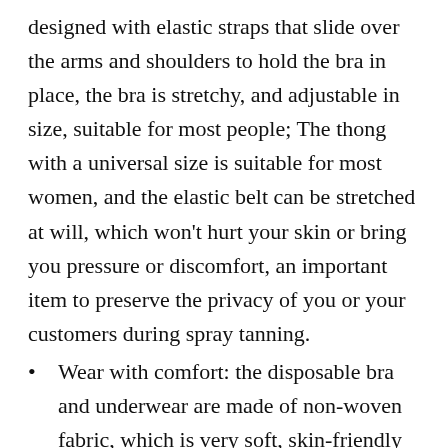designed with elastic straps that slide over the arms and shoulders to hold the bra in place, the bra is stretchy, and adjustable in size, suitable for most people; The thong with a universal size is suitable for most women, and the elastic belt can be stretched at will, which won't hurt your skin or bring you pressure or discomfort, an important item to preserve the privacy of you or your customers during spray tanning.
Wear with comfort: the disposable bra and underwear are made of non-woven fabric, which is very soft, skin-friendly and breathable, not only suitable for healthy skin but also for sensitive muscles; It fits most people and can you